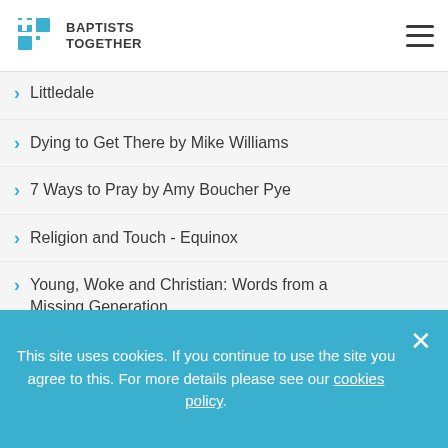Baptists Together
Littledale
Dying to Get There by Mike Williams
7 Ways to Pray by Amy Boucher Pye
Religion and Touch - Equinox
Young, Woke and Christian: Words from a Missing Generation
Mindfulness as Mission Gift by Karen Openshaw and Chris Edmondson
This site uses cookies. If you continue to use the site you agree to this. For more details please see our cookies policy.